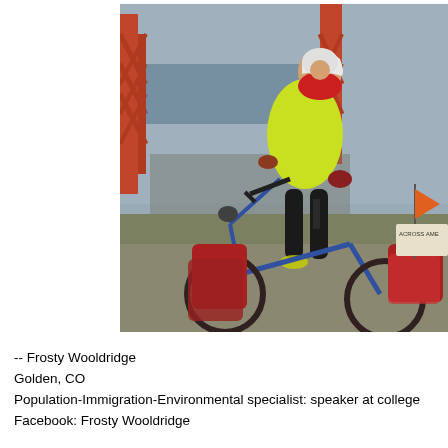[Figure (photo): A cyclist wearing a neon yellow jacket, black tights, white helmet, and red bandana sits on a heavily loaded touring bicycle in front of the Golden Gate Bridge. The bike is packed with red panniers and gear bags. An orange flag and a sign reading 'ACROSS AME...' are visible on the rear rack.]
-- Frosty Wooldridge
Golden, CO
Population-Immigration-Environmental specialist: speaker at college
Facebook: Frosty Wooldridge